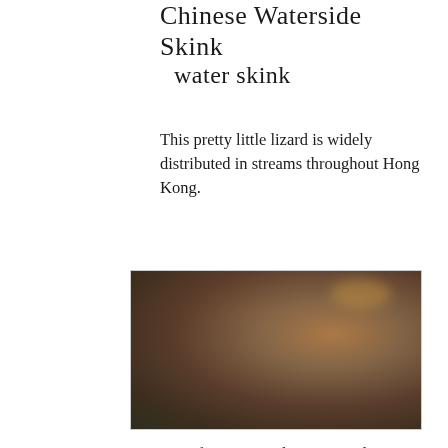Chinese Waterside Skink
water skink
This pretty little lizard is widely distributed in streams throughout Hong Kong.
[Figure (photo): Close-up photograph of a Chinese Waterside Skink lizard near water, showing its brown and reddish-brown coloring and distinctive markings.]
It is often seen in the water and can swim rapidly, it has distinctive